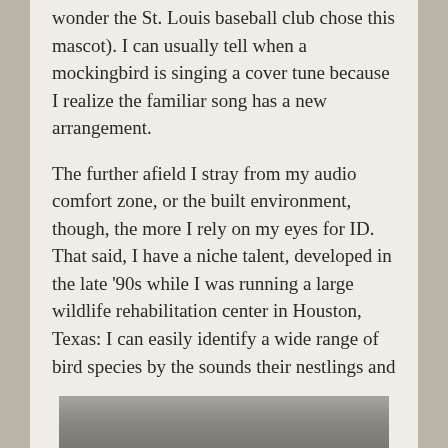wonder the St. Louis baseball club chose this mascot). I can usually tell when a mockingbird is singing a cover tune because I realize the familiar song has a new arrangement.
The further afield I stray from my audio comfort zone, or the built environment, though, the more I rely on my eyes for ID.  That said, I have a niche talent, developed in the late '90s while I was running a large wildlife rehabilitation center in Houston, Texas: I can easily identify a wide range of bird species by the sounds their nestlings and fledglings make when a parent (biological or a stand-in human) arrives with food.
[Figure (photo): A blurry/grainy outdoor photograph, partially visible at the bottom of the page, showing what appears to be a gray or overcast outdoor scene.]